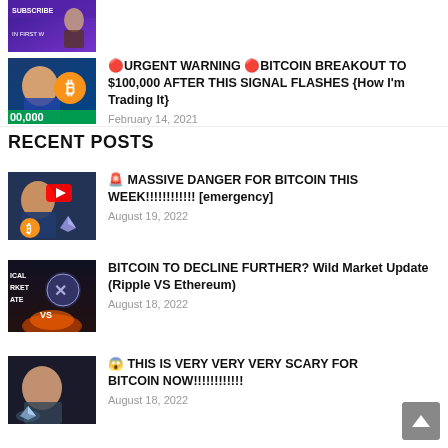[Figure (screenshot): Partial thumbnail of a YouTube video (top, cropped). Shows 'SUBSCRIBE' text and 'IN FIRST W' text with a person.]
🔴 URGENT WARNING 🔴 BITCOIN BREAKOUT TO $100,000 AFTER THIS SIGNAL FLASHES {How I'm Trading It} — February 14, 2021
RECENT POSTS
🚨 MASSIVE DANGER FOR BITCOIN THIS WEEK!!!!!!!!!!!! [emergency] — August 19, 2022
BITCOIN TO DECLINE FURTHER? Wild Market Update (Ripple VS Ethereum) — August 18, 2022
😱 THIS IS VERY VERY VERY SCARY FOR BITCOIN NOW!!!!!!!!!!!! — August 18, 2022